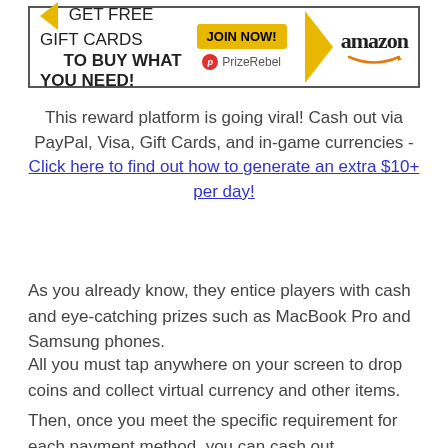[Figure (infographic): PrizeRebel advertisement banner: GET FREE GIFT CARDS TO BUY WHAT YOU NEED! JOIN NOW! PrizeRebel logo, arrow, Amazon logo]
This reward platform is going viral! Cash out via PayPal, Visa, Gift Cards, and in-game currencies - Click here to find out how to generate an extra $10+ per day!
As you already know, they entice players with cash and eye-catching prizes such as MacBook Pro and Samsung phones.
All you must tap anywhere on your screen to drop coins and collect virtual currency and other items.
Then, once you meet the specific requirement for each payment method, you can cash out.